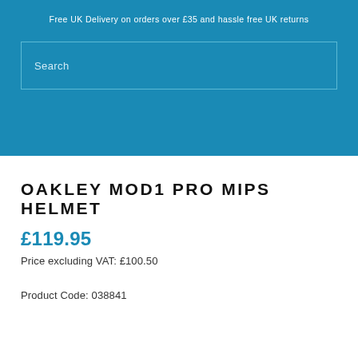Free UK Delivery on orders over £35 and hassle free UK returns
OAKLEY MOD1 PRO MIPS HELMET
£119.95
Price excluding VAT: £100.50
Product Code: 038841